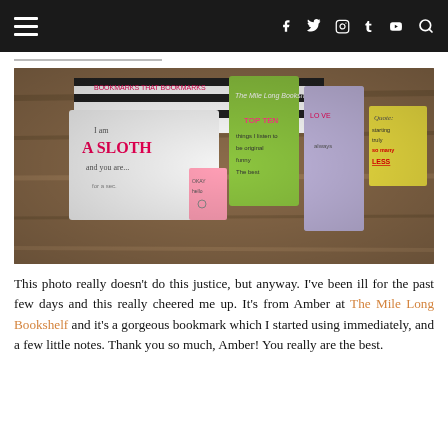Navigation bar with hamburger menu and social icons: f, twitter, instagram, tumblr, youtube, search
[Figure (photo): Photo of bookmarks and handwritten notes laid out on a wooden surface. Items include a green bookmark, a blue/purple bookmark, a yellow notecard with 'Quote:', a white card reading 'I am A SLOTH and you are...' and other decorated bookmarks and notes.]
This photo really doesn't do this justice, but anyway. I've been ill for the past few days and this really cheered me up. It's from Amber at The Mile Long Bookshelf and it's a gorgeous bookmark which I started using immediately, and a few little notes. Thank you so much, Amber! You really are the best.